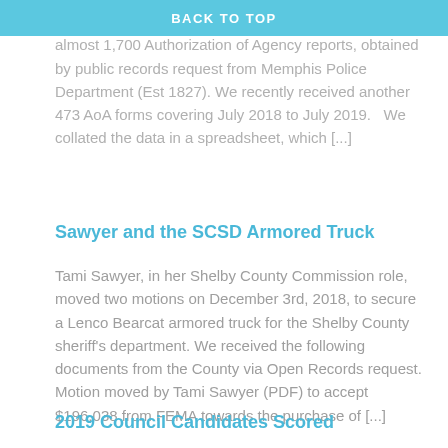BACK TO TOP
providing source data, collations and some analysis of almost 1,700 Authorization of Agency reports, obtained by public records request from Memphis Police Department (Est 1827). We recently received another 473 AoA forms covering July 2018 to July 2019.   We collated the data in a spreadsheet, which [...]
Sawyer and the SCSD Armored Truck
Tami Sawyer, in her Shelby County Commission role, moved two motions on December 3rd, 2018, to secure a Lenco Bearcat armored truck for the Shelby County sheriff's department. We received the following documents from the County via Open Records request. Motion moved by Tami Sawyer (PDF) to accept $196,038 from FEMA towards the purchase of [...]
2019 Council Candidates Scored